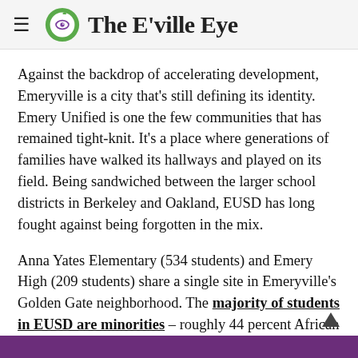The E'ville Eye
Against the backdrop of accelerating development, Emeryville is a city that's still defining its identity. Emery Unified is one the few communities that has remained tight-knit. It's a place where generations of families have walked its hallways and played on its field. Being sandwiched between the larger school districts in Berkeley and Oakland, EUSD has long fought against being forgotten in the mix.
Anna Yates Elementary (534 students) and Emery High (209 students) share a single site in Emeryville's Golden Gate neighborhood. The majority of students in EUSD are minorities – roughly 44 percent African American, 25 perc